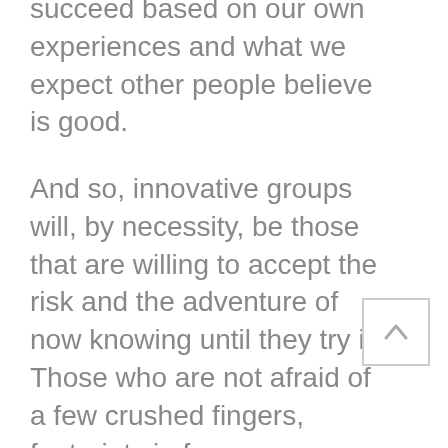succeed based on our own experiences and what we expect other people believe is good.
And so, innovative groups will, by necessity, be those that are willing to accept the risk and the adventure of now knowing until they try it. Those who are not afraid of a few crushed fingers, footprints in faces, or dizzying tumbles will fly higher